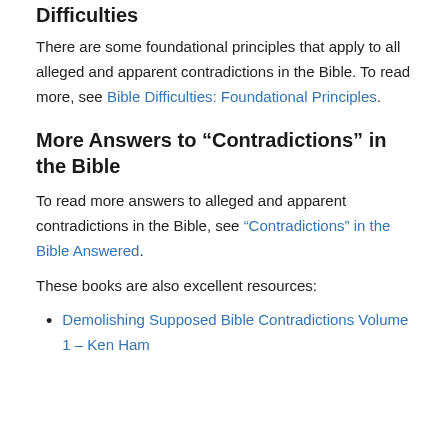Difficulties
There are some foundational principles that apply to all alleged and apparent contradictions in the Bible. To read more, see Bible Difficulties: Foundational Principles.
More Answers to “Contradictions” in the Bible
To read more answers to alleged and apparent contradictions in the Bible, see “Contradictions” in the Bible Answered.
These books are also excellent resources:
Demolishing Supposed Bible Contradictions Volume 1 – Ken Ham